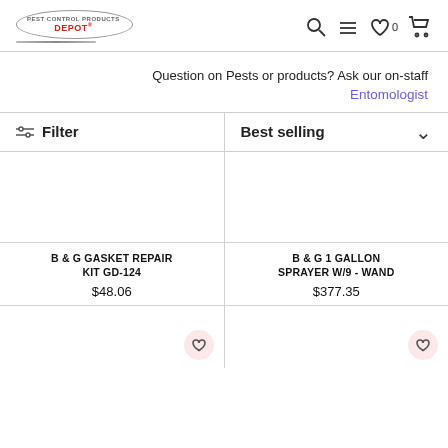[Figure (logo): Pest Control Products Depot logo - oval shaped with red text]
[Figure (infographic): Navigation icons: search, menu, wishlist (0), cart]
Question on Pests or products? Ask our on-staff
Entomologist
Filter
Best selling
B & G GASKET REPAIR KIT GD-124
$48.06
B & G 1 GALLON SPRAYER W/9 - WAND
$377.35